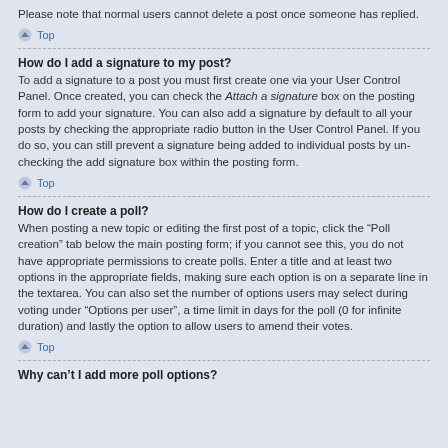Please note that normal users cannot delete a post once someone has replied.
Top
How do I add a signature to my post?
To add a signature to a post you must first create one via your User Control Panel. Once created, you can check the Attach a signature box on the posting form to add your signature. You can also add a signature by default to all your posts by checking the appropriate radio button in the User Control Panel. If you do so, you can still prevent a signature being added to individual posts by un-checking the add signature box within the posting form.
Top
How do I create a poll?
When posting a new topic or editing the first post of a topic, click the “Poll creation” tab below the main posting form; if you cannot see this, you do not have appropriate permissions to create polls. Enter a title and at least two options in the appropriate fields, making sure each option is on a separate line in the textarea. You can also set the number of options users may select during voting under “Options per user”, a time limit in days for the poll (0 for infinite duration) and lastly the option to allow users to amend their votes.
Top
Why can’t I add more poll options?